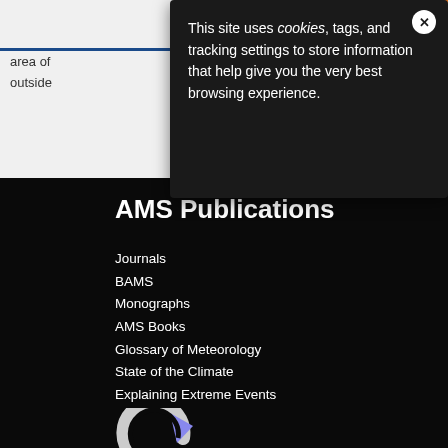[Figure (screenshot): Partial view of AMS website with blue horizontal rule and truncated text 'area of' and 'outside' visible behind cookie consent modal. Orange sidebar with save and email icons visible on the right.]
This site uses cookies, tags, and tracking settings to store information that help give you the very best browsing experience.
AMS Publications
Journals
BAMS
Monographs
AMS Books
Glossary of Meteorology
State of the Climate
Explaining Extreme Events
[Figure (logo): Partial AMS logo showing circular arrow icon with blue/purple arrow element, white and blue colors on black background.]